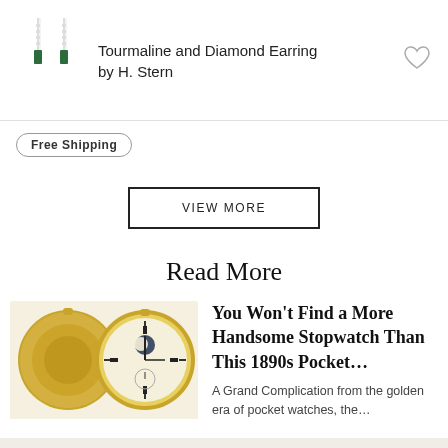[Figure (photo): Two green tourmaline and diamond drop earrings by H. Stern, shown against white background]
Tourmaline and Diamond Earring by H. Stern
[Figure (illustration): Heart/favorite icon outline]
Free Shipping
VIEW MORE
Read More
[Figure (photo): Two antique gold pocket watches from the 1890s — one showing ornate engraved lid, one open showing white enamel dial with moon phase complication]
You Won't Find a More Handsome Stopwatch Than This 1890s Pocket...
A Grand Complication from the golden era of pocket watches, the...